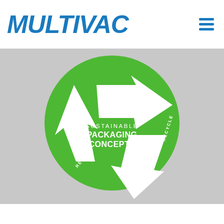MULTIVAC
[Figure (infographic): Circular green infographic with three white arrows forming a recycling-loop triangle inside a green circle. Center text reads 'SUSTAINABLE PACKAGING CONCEPTS'. Arrow labels: 'REDUCE' (bottom-left), 'RECYCLE' (right). Background is light gray.]